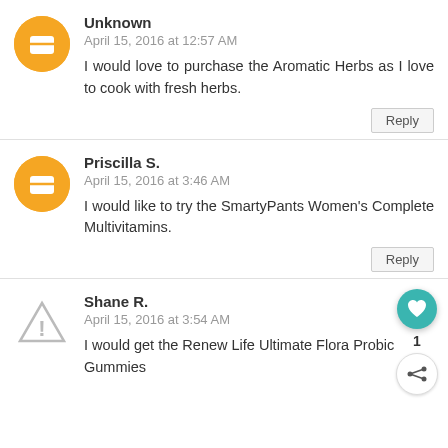Unknown
April 15, 2016 at 12:57 AM
I would love to purchase the Aromatic Herbs as I love to cook with fresh herbs.
Reply
Priscilla S.
April 15, 2016 at 3:46 AM
I would like to try the SmartyPants Women's Complete Multivitamins.
Reply
Shane R.
April 15, 2016 at 3:54 AM
I would get the Renew Life Ultimate Flora Probic Gummies